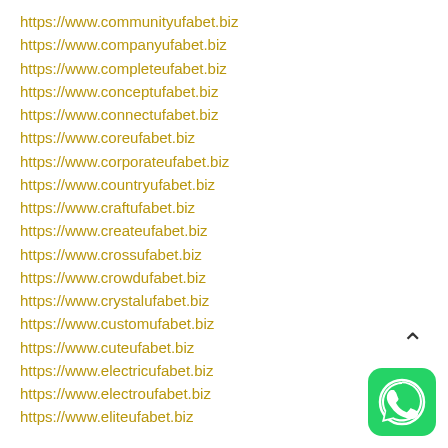https://www.communityufabet.biz
https://www.companyufabet.biz
https://www.completeufabet.biz
https://www.conceptufabet.biz
https://www.connectufabet.biz
https://www.coreufabet.biz
https://www.corporateufabet.biz
https://www.countryufabet.biz
https://www.craftufabet.biz
https://www.createufabet.biz
https://www.crossufabet.biz
https://www.crowdufabet.biz
https://www.crystalufabet.biz
https://www.customufabet.biz
https://www.cuteufabet.biz
https://www.electricufabet.biz
https://www.electroufabet.biz
https://www.eliteufabet.biz
[Figure (illustration): WhatsApp icon - green rounded square with white phone handset logo]